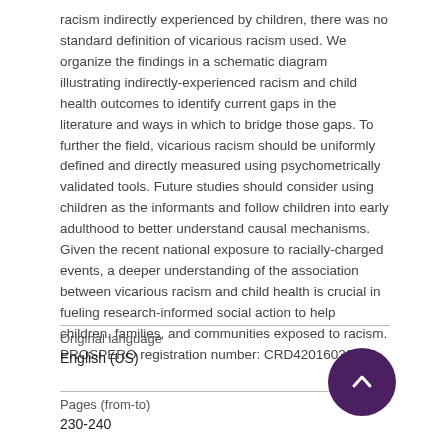racism indirectly experienced by children, there was no standard definition of vicarious racism used. We organize the findings in a schematic diagram illustrating indirectly-experienced racism and child health outcomes to identify current gaps in the literature and ways in which to bridge those gaps. To further the field, vicarious racism should be uniformly defined and directly measured using psychometrically validated tools. Future studies should consider using children as the informants and follow children into early adulthood to better understand causal mechanisms. Given the recent national exposure to racially-charged events, a deeper understanding of the association between vicarious racism and child health is crucial in fueling research-informed social action to help children, families, and communities exposed to racism. PROSPERO registration number: CRD42016039608.
| Field | Value |
| --- | --- |
| Original language | English (US) |
| Pages (from-to) | 230-240 |